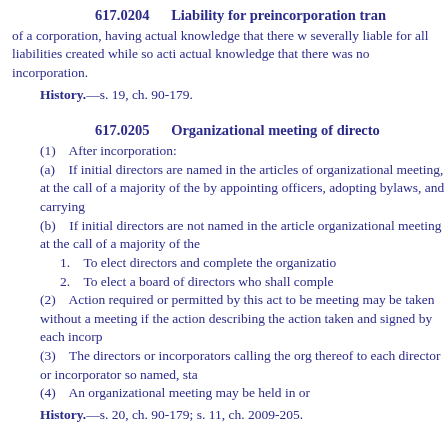617.0204    Liability for preincorporation transactions
of a corporation, having actual knowledge that there was no incorporation, are jointly and severally liable for all liabilities created while so acting, except for any liability to any person with actual knowledge that there was no incorporation.
History.—s. 19, ch. 90-179.
617.0205    Organizational meeting of directors or incorporators
(1)    After incorporation:
(a)    If initial directors are named in the articles of incorporation, they shall hold an organizational meeting, at the call of a majority of the directors, to complete the organization of the corporation by appointing officers, adopting bylaws, and carrying on any other business brought before the meeting.
(b)    If initial directors are not named in the articles of incorporation, the incorporators shall hold an organizational meeting at the call of a majority of the incorporators:
1.    To elect directors and complete the organization of the corporation; or
2.    To elect a board of directors who shall complete the organization of the corporation.
(2)    Action required or permitted by this act to be taken at an organizational meeting may be taken without a meeting if the action is evidenced by one or more written consents describing the action taken and signed by each incorporator or initial director.
(3)    The directors or incorporators calling the organizational meeting shall give notice thereof to each director or incorporator so named, stating the time and place of the meeting.
(4)    An organizational meeting may be held in or out of this state.
History.—s. 20, ch. 90-179; s. 11, ch. 2009-205.